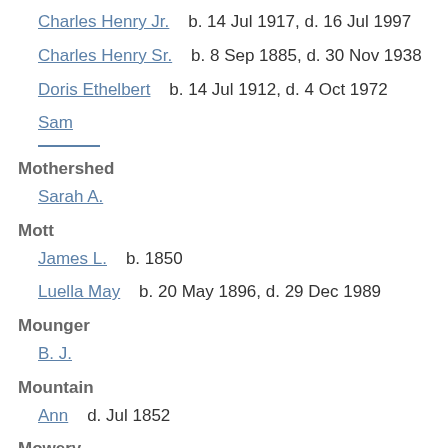Charles Henry Jr.    b. 14 Jul 1917, d. 16 Jul 1997
Charles Henry Sr.    b. 8 Sep 1885, d. 30 Nov 1938
Doris Ethelbert    b. 14 Jul 1912, d. 4 Oct 1972
Sam
Mothershed
Sarah A.
Mott
James L.    b. 1850
Luella May    b. 20 May 1896, d. 29 Dec 1989
Mounger
B. J.
Mountain
Ann    d. Jul 1852
Mowery
Elizabeth